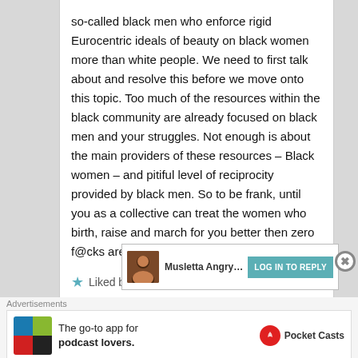so-called black men who enforce rigid Eurocentric ideals of beauty on black women more than white people. We need to first talk about and resolve this before we move onto this topic. Too much of the resources within the black community are already focused on black men and your struggles. Not enough is about the main providers of these resources – Black women – and pitiful level of reciprocity provided by black men. So to be frank, until you as a collective can treat the women who birth, raise and march for you better then zero f@cks are given in regards to this.
Liked by 2 people
[Figure (photo): User avatar photo of Musletta AngryOwl]
LOG IN TO REPLY
Musletta AngryOwl
Advertisements
[Figure (screenshot): Pocket Casts advertisement: The go-to app for podcast lovers.]